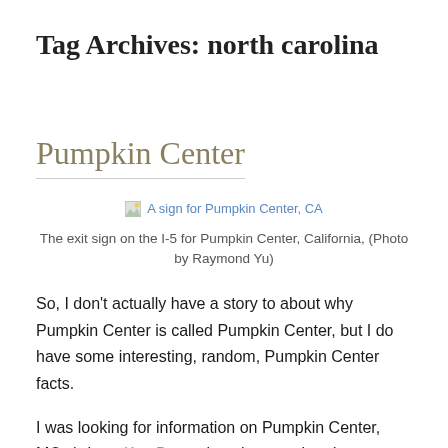Tag Archives: north carolina
Pumpkin Center
[Figure (photo): A sign for Pumpkin Center, CA — image placeholder with alt text link]
The exit sign on the I-5 for Pumpkin Center, California, (Photo by Raymond Yu)
So, I don't actually have a story to about why Pumpkin Center is called Pumpkin Center, but I do have some interesting, random, Pumpkin Center facts.
I was looking for information on Pumpkin Center, MO, (where Kay Barnes' mother was born), to continue the